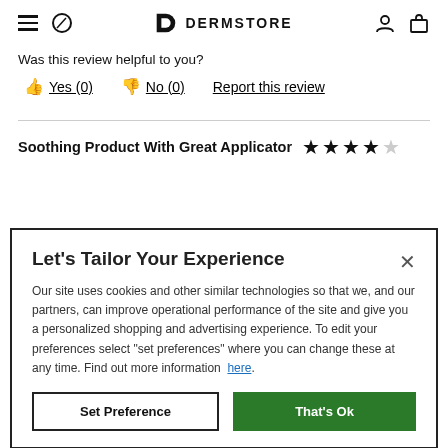DERMSTORE
Was this review helpful to you?
Yes (0)   No (0)   Report this review
Soothing Product With Great Applicator   ★★★★☆
Let's Tailor Your Experience
Our site uses cookies and other similar technologies so that we, and our partners, can improve operational performance of the site and give you a personalized shopping and advertising experience. To edit your preferences select "set preferences" where you can change these at any time. Find out more information here.
Set Preference   That's Ok